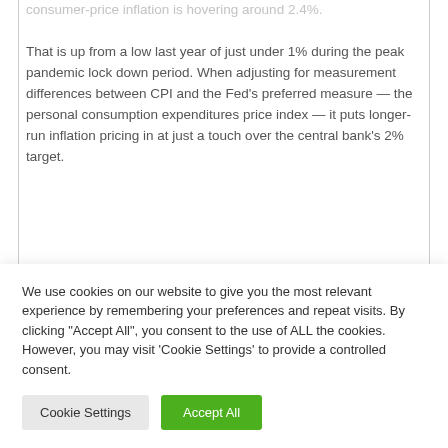consumer-price inflation is hovering around 2.4%.
That is up from a low last year of just under 1% during the peak pandemic lock down period. When adjusting for measurement differences between CPI and the Fed's preferred measure — the personal consumption expenditures price index — it puts longer-run inflation pricing in at just a touch over the central bank's 2% target.
However, some market watchers — like Fed…
We use cookies on our website to give you the most relevant experience by remembering your preferences and repeat visits. By clicking "Accept All", you consent to the use of ALL the cookies. However, you may visit 'Cookie Settings' to provide a controlled consent.